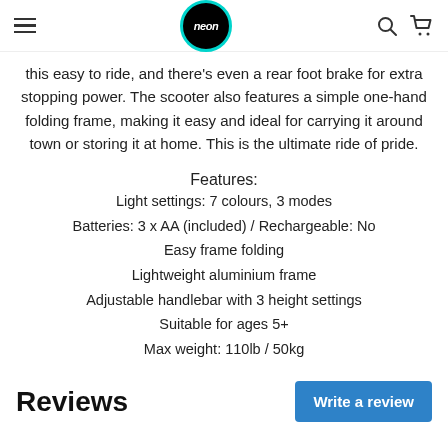neon
this easy to ride, and there's even a rear foot brake for extra stopping power. The scooter also features a simple one-hand folding frame, making it easy and ideal for carrying it around town or storing it at home. This is the ultimate ride of pride.
Features:
Light settings: 7 colours, 3 modes
Batteries: 3 x AA (included) / Rechargeable: No
Easy frame folding
Lightweight aluminium frame
Adjustable handlebar with 3 height settings
Suitable for ages 5+
Max weight: 110lb / 50kg
Reviews
Write a review